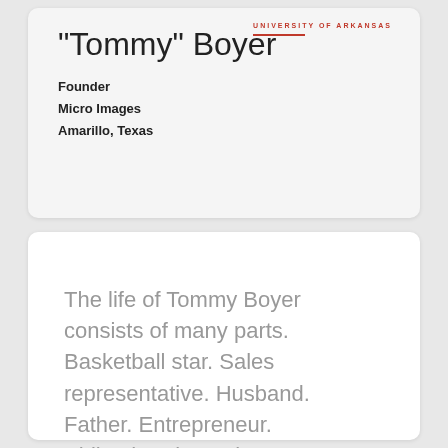UNIVERSITY OF ARKANSAS
"Tommy" Boyer
Founder
Micro Images
Amarillo, Texas
The life of Tommy Boyer consists of many parts. Basketball star. Sales representative. Husband. Father. Entrepreneur. Philanthropist. Volunteer. Razorback.